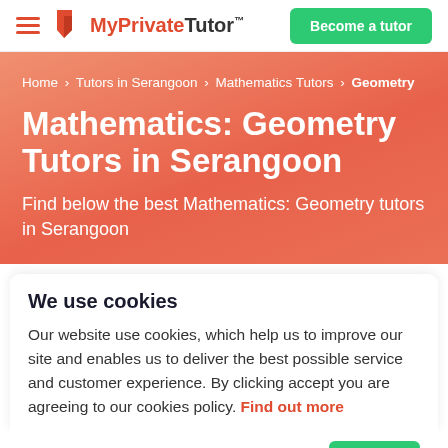MyPrivateTutor™  |  Become a tutor
Home > Tutors in Serangoon > Mathematics Tutors > Geometry
Mathematics: Geometry Tutors in Serangoon
Find below the best Mathematics: Geometry tutors in Serangoon
We use cookies
Our website use cookies, which help us to improve our site and enables us to deliver the best possible service and customer experience. By clicking accept you are agreeing to our cookies policy. Find out more